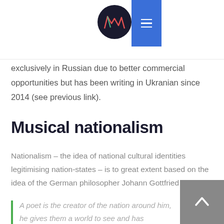MW [logo] [menu button]
exclusively in Russian due to better commercial opportunities but has been writing in Ukranian since 2014 (see previous link).
Musical nationalism
Nationalism – the idea of national cultural identities legitimising nation-states – is to great extent based on the idea of the German philosopher Johann Gottfried Herder.
A poet is the creator of the nation around him, he gives them a world to see and has